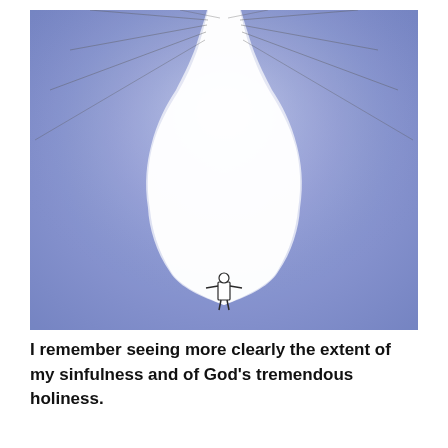[Figure (illustration): A watercolor-style illustration with a blue/purple background. In the center is a large white teardrop or flame-shaped area pointing downward. From the top of this white area, multiple thin diagonal lines radiate outward like light rays or parachute strings, spreading upward and to the sides. At the very bottom of the white shape stands a small human figure with arms outstretched, appearing tiny compared to the overwhelming white light descending from above. The figure appears to be holding or receiving the large white presence.]
I remember seeing more clearly the extent of my sinfulness and of God's tremendous holiness.